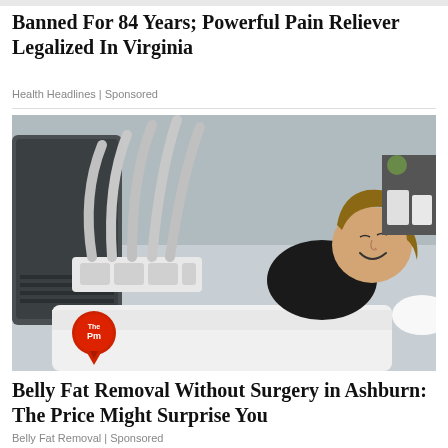Banned For 84 Years; Powerful Pain Reliever Legalized In Virginia
Health Headlines | Sponsored
[Figure (photo): Woman lying on a treatment bed with multiple grey tubes and applicators of a body contouring machine attached to her abdomen, smiling at the camera. Medical equipment visible in the background.]
Belly Fat Removal Without Surgery in Ashburn: The Price Might Surprise You
Belly Fat Removal | Sponsored